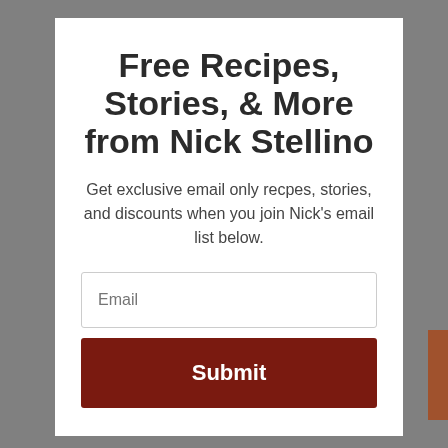Free Recipes, Stories, & More from Nick Stellino
Get exclusive email only recpes, stories, and discounts when you join Nick's email list below.
Email
Submit